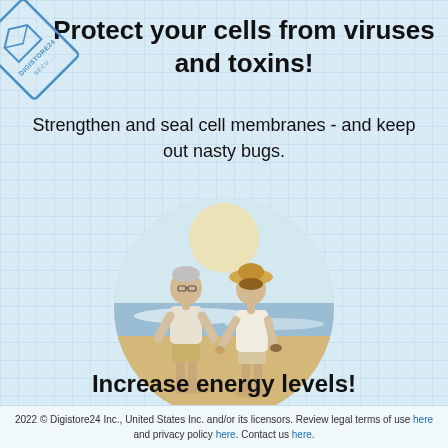[Figure (logo): Digistore24 security watermark stamp in top-left corner, diagonal orientation]
Protect your cells from viruses and toxins!
Strengthen and seal cell membranes - and keep out nasty bugs.
[Figure (photo): Circular photo of an elderly couple walking on a beach, holding hands. The man wears a white shirt and khaki shorts; the woman wears a white blouse and a wide-brim hat.]
Increase energy levels!
2022 © Digistore24 Inc., United States Inc. and/or its licensors. Review legal terms of use here and privacy policy here. Contact us here.